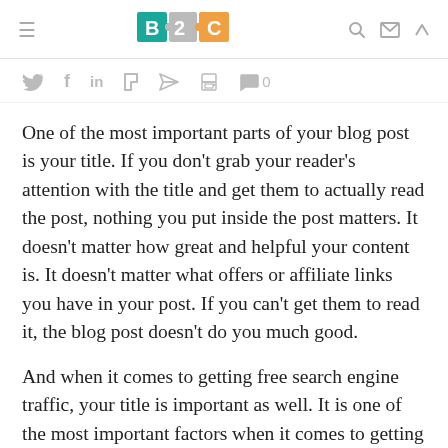B2C logo with navigation icons
[Figure (logo): B2C puzzle logo with teal B, gray 2, orange C puzzle pieces]
Social sharing icons: Twitter, Facebook, LinkedIn, Flipboard, send, print, comment 0
One of the most important parts of your blog post is your title. If you don't grab your reader's attention with the title and get them to actually read the post, nothing you put inside the post matters. It doesn't matter how great and helpful your content is. It doesn't matter what offers or affiliate links you have in your post. If you can't get them to read it, the blog post doesn't do you much good.
And when it comes to getting free search engine traffic, your title is important as well. It is one of the most important factors when it comes to getting your content to rank. Yes, there are plenty of other factors, but a good title with the right keywords and